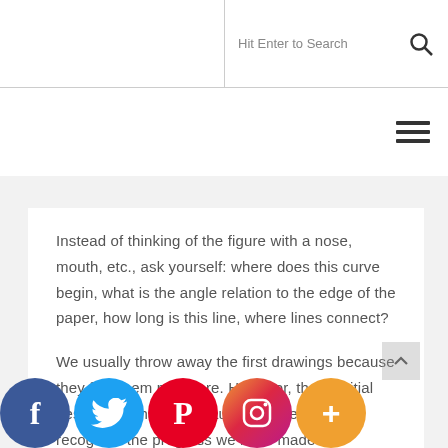Hit Enter to Search
Instead of thinking of the figure with a nose, mouth, etc., ask yourself: where does this curve begin, what is the angle relation to the edge of the paper, how long is this line, where lines connect?
We usually throw away the first drawings because they find them mediocre. However, these initial designs are handy because they help us recognize the progress we have made.
When we are drawing better often, we forget the progress we have made and criticize ourselves. St ings, we will have a parameter fo r development